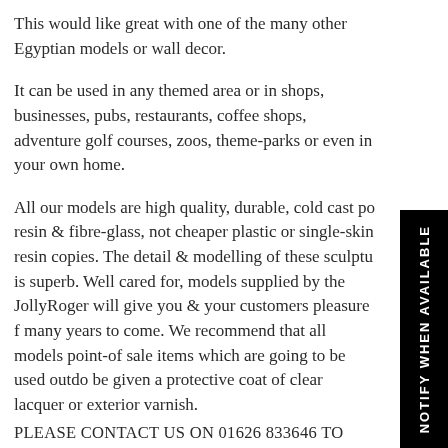This would like great with one of the many other Egyptian models or wall decor.
It can be used in any themed area or in shops, businesses, pubs, restaurants, coffee shops, adventure golf courses, zoos, theme-parks or even in your own home.
All our models are high quality, durable, cold cast po resin & fibre-glass, not cheaper plastic or single-skin resin copies. The detail & modelling of these sculptu is superb. Well cared for, models supplied by the JollyRoger will give you & your customers pleasure f many years to come. We recommend that all models point-of sale items which are going to be used outdo be given a protective coat of clear lacquer or exterior varnish.
PLEASE CONTACT US ON 01626 833646 TO DISCUSS